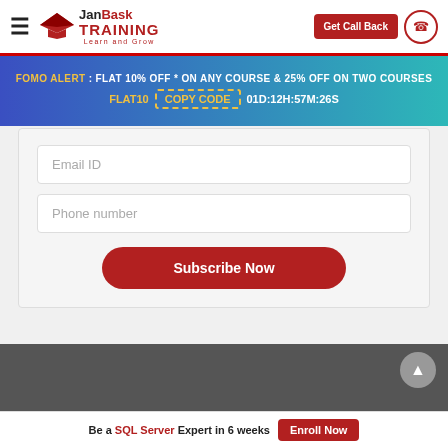JanBask Training — Navigation bar with hamburger menu, logo, Get Call Back button, phone icon
FOMO ALERT : FLAT 10% OFF * ON ANY COURSE & 25% OFF ON TWO COURSES
FLAT10  COPY CODE  01D:12H:57M:26S
Email ID
Phone number
Subscribe Now
Be a SQL Server Expert in 6 weeks
Enroll Now